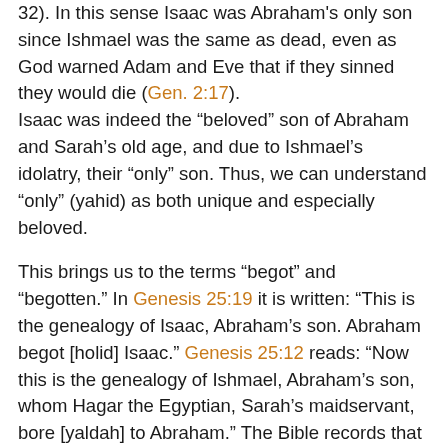32). In this sense Isaac was Abraham's only son since Ishmael was the same as dead, even as God warned Adam and Eve that if they sinned they would die (Gen. 2:17).
Isaac was indeed the "beloved" son of Abraham and Sarah's old age, and due to Ishmael's idolatry, their "only" son. Thus, we can understand "only" (yahid) as both unique and especially beloved.
This brings us to the terms "begot" and "begotten." In Genesis 25:19 it is written: "This is the genealogy of Isaac, Abraham's son. Abraham begot [holid] Isaac." Genesis 25:12 reads: "Now this is the genealogy of Ishmael, Abraham's son, whom Hagar the Egyptian, Sarah's maidservant, bore [yaldah] to Abraham." The Bible records that Abraham "begot" Isaac, but it never says that Abraham "begot" Ishmael. The Bible states that Ishmael was the son of Abraham, but the text never uses "begot" in connection with Abraham and Ishmael. The verb yalad is used in connection with Hagar, but not with Abraham. The same text states